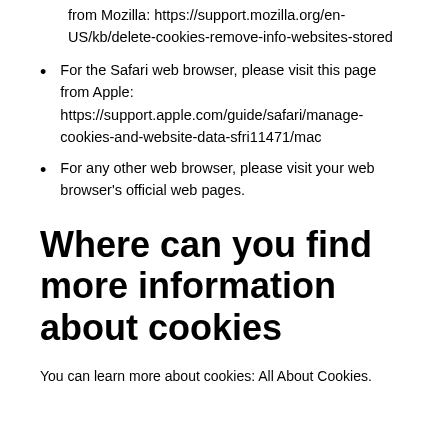from Mozilla: https://support.mozilla.org/en-US/kb/delete-cookies-remove-info-websites-stored
For the Safari web browser, please visit this page from Apple: https://support.apple.com/guide/safari/manage-cookies-and-website-data-sfri11471/mac
For any other web browser, please visit your web browser's official web pages.
Where can you find more information about cookies
You can learn more about cookies: All About Cookies.